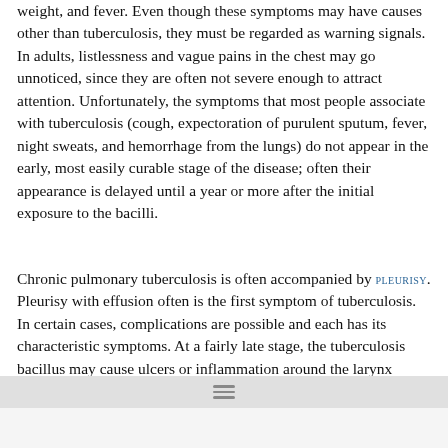weight, and fever. Even though these symptoms may have causes other than tuberculosis, they must be regarded as warning signals. In adults, listlessness and vague pains in the chest may go unnoticed, since they are often not severe enough to attract attention. Unfortunately, the symptoms that most people associate with tuberculosis (cough, expectoration of purulent sputum, fever, night sweats, and hemorrhage from the lungs) do not appear in the early, most easily curable stage of the disease; often their appearance is delayed until a year or more after the initial exposure to the bacilli.
Chronic pulmonary tuberculosis is often accompanied by PLEURISY. Pleurisy with effusion often is the first symptom of tuberculosis. In certain cases, complications are possible and each has its characteristic symptoms. At a fairly late stage, the tuberculosis bacillus may cause ulcers or inflammation around the larynx (tuberculous LARYNGITIS). Less often, tuberculous ulcers form on the tongue or tonsils. Sometimes intestinal infections develop; they are probably caused by swallowed bacteria-contaminated sputum. A most serious complication is the sudden collapse of a lung, the indication that a